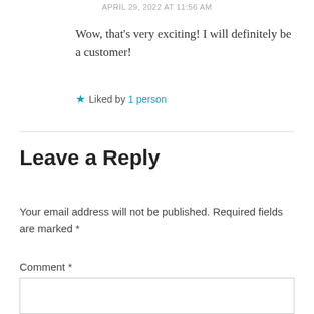APRIL 29, 2022 AT 11:56 AM
Wow, that’s very exciting! I will definitely be a customer!
★ Liked by 1 person
Leave a Reply
Your email address will not be published. Required fields are marked *
Comment *